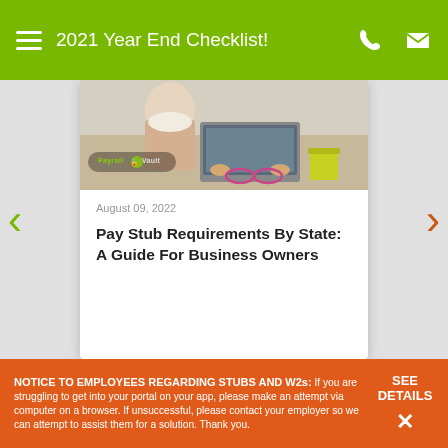2021 Year End Checklist!
[Figure (photo): Photo of a person working at a laptop with glasses and a coffee cup on a desk, with a Payroll Vault logo overlay]
August 09, 2022
Pay Stub Requirements By State: A Guide For Business Owners
NOTICE TO EMPLOYEES REGARDING STUBS AND W2s: If you are struggling to get into your portal on your app, please make an attempt via computer on a browser. If unsuccessful, please contact your employer so we can attempt to assist them for a solution. Thank you.
SEE DETAILS